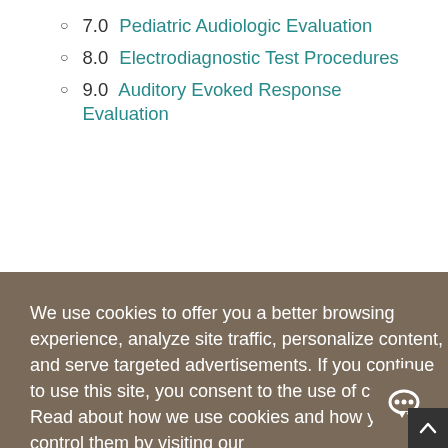7.0 Pediatric Audiologic Evaluation
8.0 Electrodiagnostic Test Procedures
9.0 Auditory Evoked Response Evaluation
We use cookies to offer you a better browsing experience, analyze site traffic, personalize content, and serve targeted advertisements. If you continue to use this site, you consent to the use of cookies. Read about how we use cookies and how you can control them by visiting our Cookie Statement.
OK
Fitting